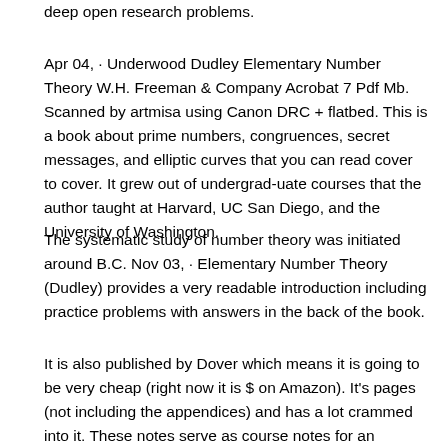deep open research problems.
Apr 04,  · Underwood Dudley Elementary Number Theory W.H. Freeman & Company Acrobat 7 Pdf Mb. Scanned by artmisa using Canon DRC + flatbed. This is a book about prime numbers, congruences, secret messages, and elliptic curves that you can read cover to cover. It grew out of undergrad-uate courses that the author taught at Harvard, UC San Diego, and the University of Washington.
The systematic study of number theory was initiated around B.C. Nov 03,  · Elementary Number Theory (Dudley) provides a very readable introduction including practice problems with answers in the back of the book.
It is also published by Dover which means it is going to be very cheap (right now it is $ on Amazon). It's pages (not including the appendices) and has a lot crammed into it. These notes serve as course notes for an undergraduate course in number theory.
Most if not all universities worldwide offer introductory courses in number theory for math majors and in many cases as an elective